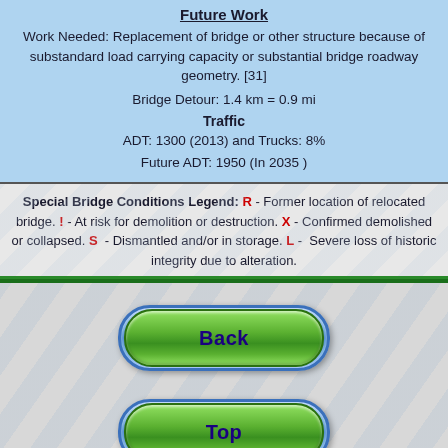Future Work
Work Needed: Replacement of bridge or other structure because of substandard load carrying capacity or substantial bridge roadway geometry. [31]
Bridge Detour: 1.4 km = 0.9 mi
Traffic
ADT: 1300 (2013) and Trucks: 8%
Future ADT: 1950 (In 2035 )
Special Bridge Conditions Legend: R - Former location of relocated bridge. ! - At risk for demolition or destruction. X - Confirmed demolished or collapsed. S - Dismantled and/or in storage. L - Severe loss of historic integrity due to alteration.
[Figure (other): Navigation button labeled Back]
[Figure (other): Navigation button labeled Top]